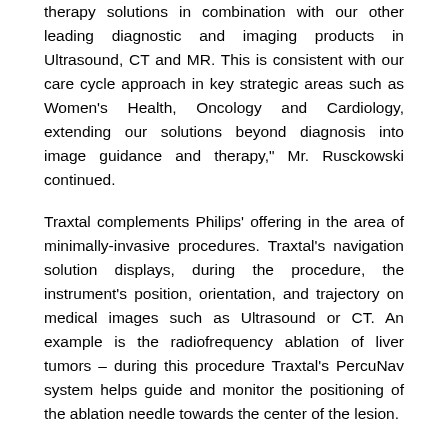therapy solutions in combination with our other leading diagnostic and imaging products in Ultrasound, CT and MR. This is consistent with our care cycle approach in key strategic areas such as Women's Health, Oncology and Cardiology, extending our solutions beyond diagnosis into image guidance and therapy," Mr. Rusckowski continued.
Traxtal complements Philips' offering in the area of minimally-invasive procedures. Traxtal's navigation solution displays, during the procedure, the instrument's position, orientation, and trajectory on medical images such as Ultrasound or CT. An example is the radiofrequency ablation of liver tumors – during this procedure Traxtal's PercuNav system helps guide and monitor the positioning of the ablation needle towards the center of the lesion.
Traxtal, headquartered in Toronto, is a pioneer in the innovation, development and manufacturing of computer